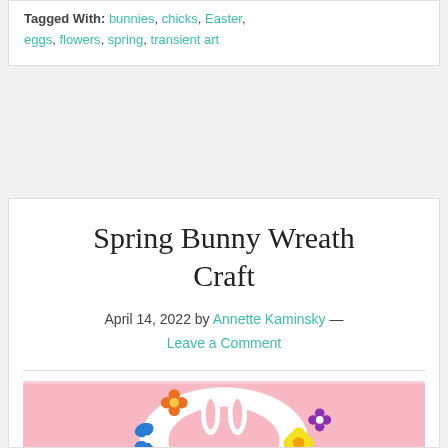Tagged With: bunnies, chicks, Easter, eggs, flowers, spring, transient art
Spring Bunny Wreath Craft
April 14, 2022 by Annette Kaminsky — Leave a Comment
[Figure (photo): A decorative spring wreath craft with a white bunny silhouette in the center, colorful flowers (blue butterfly-shaped, orange, yellow, purple), set against a pink background.]